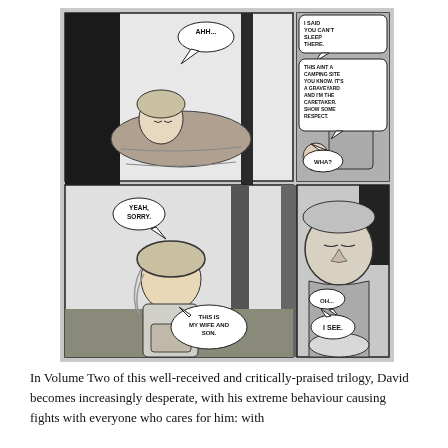[Figure (illustration): A black-and-white manga/comic page with 4 panels. Panel 1 (top-left): A young man lying in a sleeping bag between grave markers, saying 'AHH...'. Panel 2 (top-right): An older man standing in a graveyard scolding, speech bubbles: 'I SAID YOU CAN'T SLEEP THERE.' and 'THIS AINT A CAMPING SITE YOU KNOW. IT'S A GRAVEYARD AND I'M THE CARETAKER. SHOW SOME RESPECT.' The young man says 'WHA?'. Panel 3 (bottom-left): The young man sitting up apologetically, saying 'YEAH, SORRY.' and 'THIS IS MY WIFE AND SON.' Panel 4 (bottom-right): The older man looking downward, with speech bubbles 'OH...' and 'I SEE.']
In Volume Two of this well-received and critically-praised trilogy, David becomes increasingly desperate, with his extreme behaviour causing fights with everyone who cares for him: with